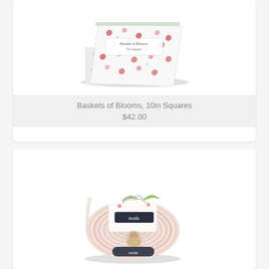[Figure (photo): Baskets of Blooms 10-inch fabric squares pack, showing stacked floral fabric squares with red and gray floral patterns, labeled 'Basket of Blooms Ten Square']
Baskets of Blooms, 10in Squares
$42.00
[Figure (photo): Jelly roll fabric roll from Moda fabrics, showing a rolled coil of fabric strips with floral and botanical patterns in pink, red, green on white background, with Moda branding label]